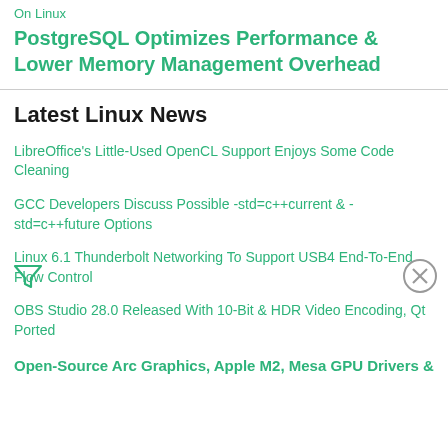On Linux
PostgreSQL Optimizes Performance & Lower Memory Management Overhead
Latest Linux News
LibreOffice's Little-Used OpenCL Support Enjoys Some Code Cleaning
GCC Developers Discuss Possible -std=c++current & -std=c++future Options
Linux 6.1 Thunderbolt Networking To Support USB4 End-To-End Flow Control
OBS Studio 28.0 Released With 10-Bit & HDR Video Encoding, Qt Ported
Open-Source Arc Graphics, Apple M2, Mesa GPU Drivers &